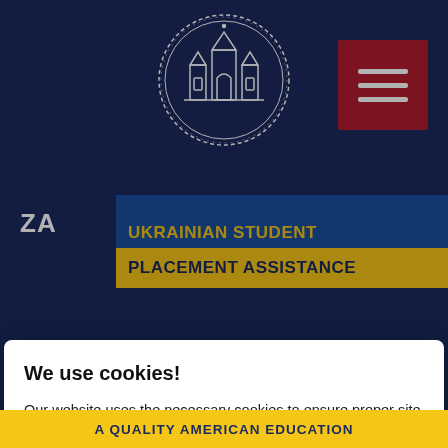[Figure (logo): University logo/seal in white outline on dark navy background, circular with building/cathedral architecture]
[Figure (screenshot): Red hamburger menu button with three white horizontal lines]
ZA UKRAINIAN STUDENT PLACEMENT ASSISTANCE
We use cookies!
Our website uses the necessary cookies to ensure proper site operation and analytical cookies to help us better understand your interests. Anything beyond the necessary cookies will not be used without your consent. Set up.
Accept all
Accept essential
A QUALITY AMERICAN EDUCATION